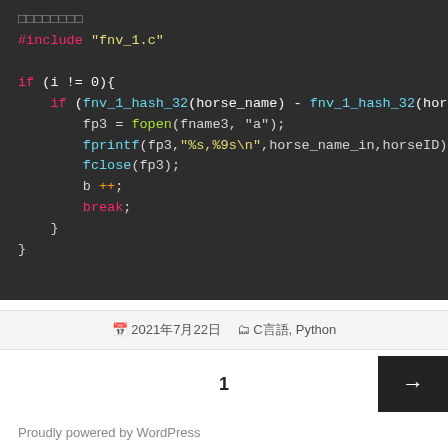[Figure (screenshot): Dark-themed code editor screenshot showing C code with syntax highlighting. Includes #include directive, if statement with fnv_1_hash_32 function calls, fopen, fprintf, fclose calls, b++, and break statement.]
2021年7月22日  C言語, Python
1
→
Proudly powered by WordPress